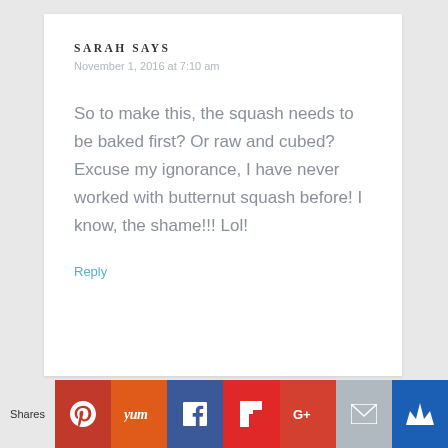SARAH SAYS
November 1, 2016 at 7:10 am
So to make this, the squash needs to be baked first? Or raw and cubed? Excuse my ignorance, I have never worked with butternut squash before! I know, the shame!!! Lol!
Reply